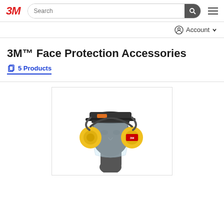3M — Search bar — Account — Menu
3M™ Face Protection Accessories
5 Products
[Figure (photo): A mannequin head wearing a 3M face protection accessory set including a hard hat visor shield, clear face shield, and yellow ear muffs/hearing protection on both sides.]